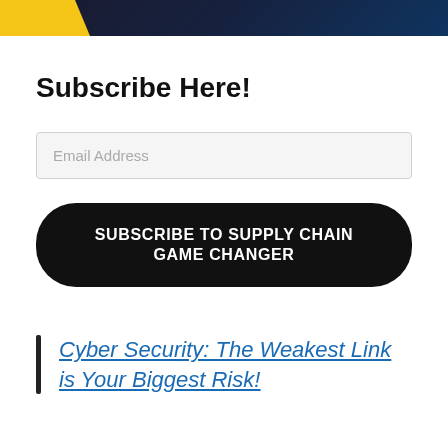[Figure (illustration): Partial banner image with yellow graphic element on left and dark blue/black digital background on right]
Subscribe Here!
Email Address
SUBSCRIBE TO SUPPLY CHAIN GAME CHANGER
Cyber Security: The Weakest Link is Your Biggest Risk!